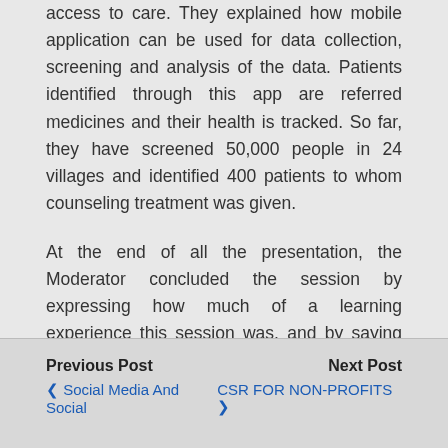access to care. They explained how mobile application can be used for data collection, screening and analysis of the data. Patients identified through this app are referred medicines and their health is tracked. So far, they have screened 50,000 people in 24 villages and identified 400 patients to whom counseling treatment was given.
At the end of all the presentation, the Moderator concluded the session by expressing how much of a learning experience this session was, and by saying there is no limitation to the change that can be brought about through digital innovation.
Previous Post | Next Post | ❮ Social Media And Social | CSR FOR NON-PROFITS ❯